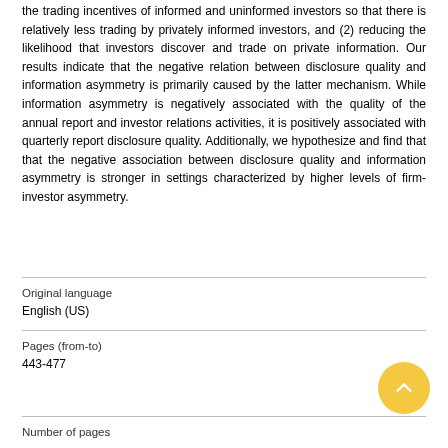the trading incentives of informed and uninformed investors so that there is relatively less trading by privately informed investors, and (2) reducing the likelihood that investors discover and trade on private information. Our results indicate that the negative relation between disclosure quality and information asymmetry is primarily caused by the latter mechanism. While information asymmetry is negatively associated with the quality of the annual report and investor relations activities, it is positively associated with quarterly report disclosure quality. Additionally, we hypothesize and find that that the negative association between disclosure quality and information asymmetry is stronger in settings characterized by higher levels of firm-investor asymmetry.
| Field | Value |
| --- | --- |
| Original language | English (US) |
| Pages (from-to) | 443-477 |
| Number of pages |  |